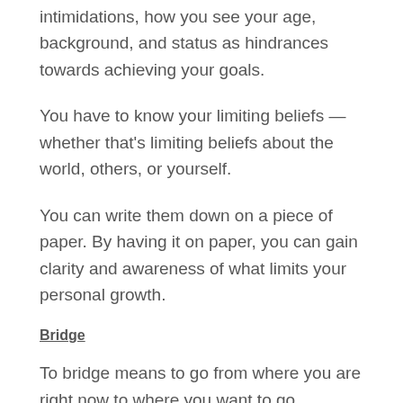intimidations, how you see your age, background, and status as hindrances towards achieving your goals.
You have to know your limiting beliefs — whether that's limiting beliefs about the world, others, or yourself.
You can write them down on a piece of paper. By having it on paper, you can gain clarity and awareness of what limits your personal growth.
Bridge
To bridge means to go from where you are right now to where you want to go.